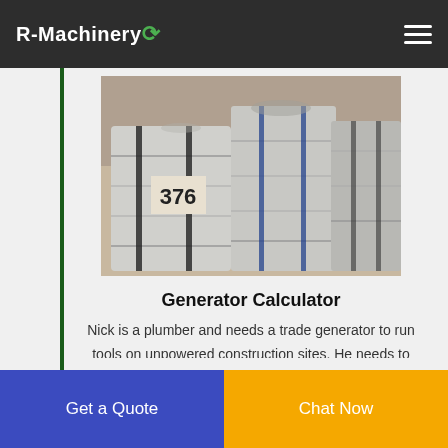R-Machinery
[Figure (photo): Bales of compressed scrap metal/aluminum in a warehouse or yard setting. Several large rectangular bales wrapped with metal banding are stacked together. One bale has '376' marked on it.]
Generator Calculator
Nick is a plumber and needs a trade generator to run tools on unpowered construction sites. He needs to run an air compressor and a pressure washer. The air compressor is 3.8kW startup and 1.1kW running. Lastly the pressure washer manual indicates it needs 15.0 Amps max and 5.4 Amps
Get a Quote | Chat Now